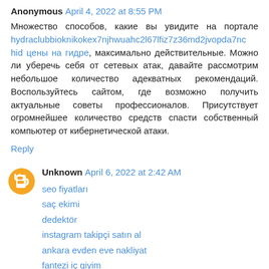Anonymous April 4, 2022 at 8:55 PM
Множество способов, какие вы увидите на портале hydraclubbioknikokex7njhwuahc2l67lfiz7z36md2jvopda7nchid цены на гидре, максимально действительные. Можно ли уберечь себя от сетевых атак, давайте рассмотрим небольшое количество адекватных рекомендаций. Воспользуйтесь сайтом, где возможно получить актуальные советы профессионалов. Присутствует огромнейшее количество средств спасти собственный компьютер от кибернетической атаки.
Reply
Unknown April 6, 2022 at 2:42 AM
seo fiyatları
saç ekimi
dedektör
instagram takipçi satın al
ankara evden eve nakliyat
fantezi iç giyim
sosyal medya yönetimi